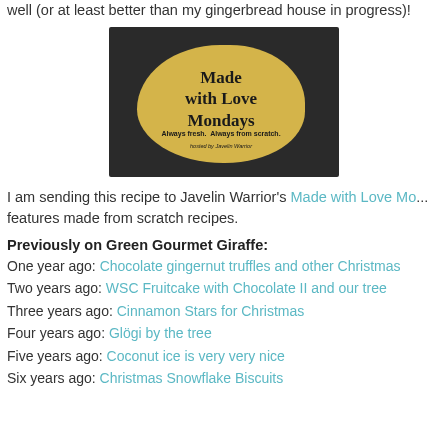well (or at least better than my gingerbread house in progress)!
[Figure (photo): Made with Love Mondays logo — cookie dough rolled out with flour, text reads 'Made with Love Mondays. Always fresh. Always from scratch. hosted by Javelin Warrior']
I am sending this recipe to Javelin Warrior's Made with Love Mo... features made from scratch recipes.
Previously on Green Gourmet Giraffe:
One year ago: Chocolate gingernut truffles and other Christmas...
Two years ago: WSC Fruitcake with Chocolate II and our tree
Three years ago: Cinnamon Stars for Christmas
Four years ago: Glögi by the tree
Five years ago: Coconut ice is very very nice
Six years ago: Christmas Snowflake Biscuits